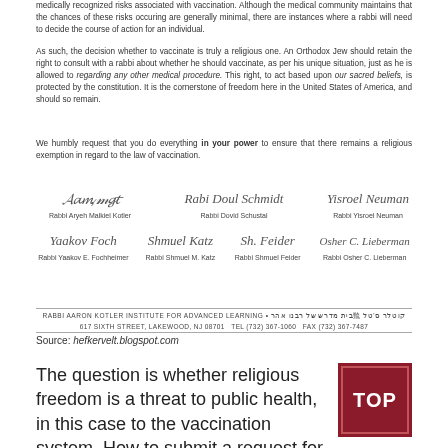medically recognized risks associated with vaccination. Although the medical community maintains that the chances of these risks occurring are generally minimal, there are instances where a rabbi will need to decide the course of action for an individual.
As such, the decision whether to vaccinate is truly a religious one. An Orthodox Jew should retain the right to consult with a rabbi about whether he should vaccinate, as per his unique situation, just as he is allowed to regarding any other medical procedure. This right, to act based upon our sacred beliefs, is protected by the constitution. It is the cornerstone of freedom here in the United States of America, and should so remain.
We humbly request that you do everything in your power to ensure that there remains a religious exemption in regard to the law of vaccination.
[Figure (other): Signatures of six rabbis: Rabbi Aryeh Malkiel Kotler, Rabbi Dovid Schustal, Rabbi Yisroel Neuman, Rabbi Yaakov E. Fochheimer, Rabbi Shmuel M. Katz, Rabbi Shmuel Feider, Rabbi Osher C. Lieberman]
RABBI AARON KOTLER INSTITUTE FOR ADVANCED LEARNING • 5'7'nnp 1'n31 p33 N'on 31 N'31YN S3' W31'NQ3 3'3
617 SIXTH STREET, LAKEWOOD, NJ 08701  Tel (732) 367-1060  Fax (732) 367-7487
Source: hefkervelt.blogspot.com
The question is whether religious freedom is a threat to public health, in this case to the vaccination system. How to submit a request for a religious or medical exemption